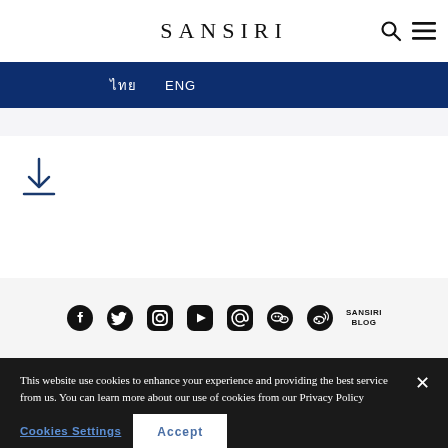SANSIRI
[Figure (screenshot): Navigation bar with Thai and ENG language options on dark blue background]
[Figure (illustration): Download icon (arrow pointing down with underline)]
[Figure (illustration): Social media icons: Facebook, Twitter, Instagram, YouTube, Email, WeChat, Weibo, SANSIRI BLOG]
This website use cookies to enhance your experience and providing the best service from us. You can learn more about our use of cookies from our Privacy Policy
Cookies Settings
Accept